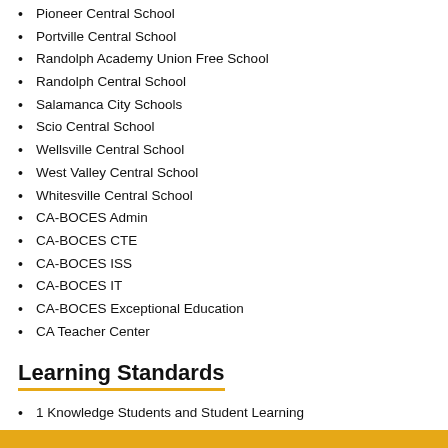Pioneer Central School
Portville Central School
Randolph Academy Union Free School
Randolph Central School
Salamanca City Schools
Scio Central School
Wellsville Central School
West Valley Central School
Whitesville Central School
CA-BOCES Admin
CA-BOCES CTE
CA-BOCES ISS
CA-BOCES IT
CA-BOCES Exceptional Education
CA Teacher Center
Learning Standards
1 Knowledge Students and Student Learning
2 Knowledge of Content and Instruction
3 Instructional Practice
4 Learning Environment
5 Assessment for Learning
6 Responsibilities Collaboration
7 Professional Growth